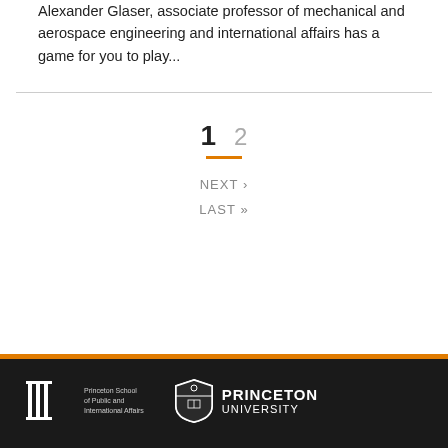Alexander Glaser, associate professor of mechanical and aerospace engineering and international affairs has a game for you to play...
1  2
NEXT ›
LAST »
[Figure (logo): Princeton School of Public and International Affairs logo and Princeton University shield logo in white on dark footer background]